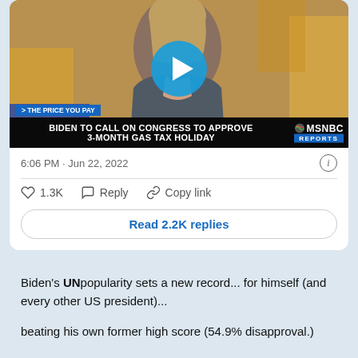[Figure (screenshot): MSNBC news video thumbnail showing a female TV anchor with a chyron reading 'BIDEN TO CALL ON CONGRESS TO APPROVE 3-MONTH GAS TAX HOLIDAY' and a blue play button overlay. A ticker label reads '> THE PRICE YOU PAY'.]
6:06 PM · Jun 22, 2022
♡ 1.3K   Reply   Copy link
Read 2.2K replies
Biden's UNpopularity sets a new record... for himself (and every other US president)...
beating his own former high score (54.9% disapproval.)